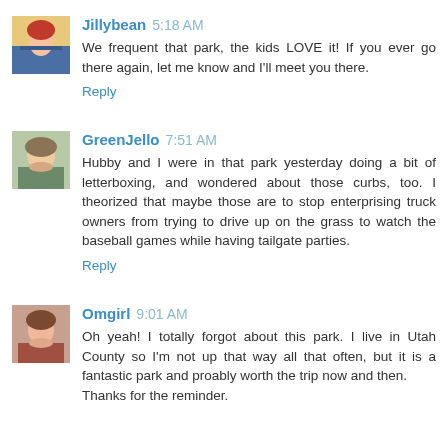[Figure (photo): Avatar thumbnail of user Jillybean]
Jillybean 5:18 AM
We frequent that park, the kids LOVE it! If you ever go there again, let me know and I'll meet you there.
Reply
[Figure (photo): Avatar thumbnail of user GreenJello]
GreenJello 7:51 AM
Hubby and I were in that park yesterday doing a bit of letterboxing, and wondered about those curbs, too. I theorized that maybe those are to stop enterprising truck owners from trying to drive up on the grass to watch the baseball games while having tailgate parties.
Reply
[Figure (photo): Avatar thumbnail of user Omgirl]
Omgirl 9:01 AM
Oh yeah! I totally forgot about this park. I live in Utah County so I'm not up that way all that often, but it is a fantastic park and proably worth the trip now and then. Thanks for the reminder.